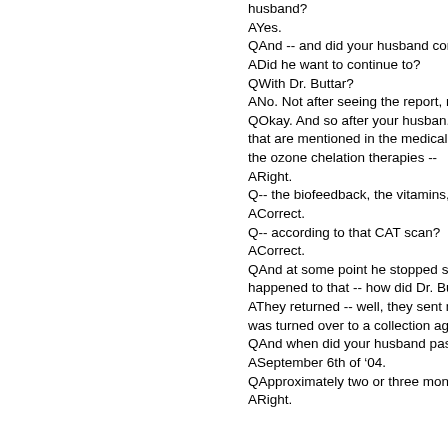husband?
AYes.
QAnd -- and did your husband cont...
ADid he want to continue to?
QWith Dr. Buttar?
ANo.  Not after seeing the report, n...
QOkay.  And so after your husban... that are mentioned in the medical ... the ozone chelation therapies --
ARight.
Q-- the biofeedback, the vitamins, h...
ACorrect.
Q-- according to that CAT scan?
ACorrect.
QAnd at some point he stopped s... happened to that -- how did Dr. But...
AThey returned -- well, they sent m... was turned over to a collection agen...
QAnd when did your husband pass...
ASeptember 6th of ’04.
QApproximately two or three month...
ARight.